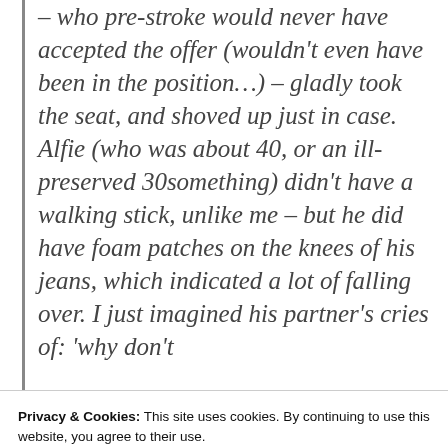– who pre-stroke would never have accepted the offer (wouldn't even have been in the position…) – gladly took the seat, and shoved up just in case. Alfie (who was about 40, or an ill-preserved 30something) didn't have a walking stick, unlike me – but he did have foam patches on the knees of his jeans, which indicated a lot of falling over. I just imagined his partner's cries of: 'why don't
Privacy & Cookies: This site uses cookies. By continuing to use this website, you agree to their use.
To find out more, including how to control cookies, see here: Cookie Policy